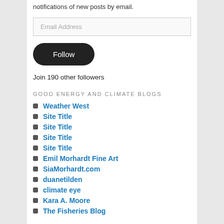notifications of new posts by email.
Email Address
Follow
Join 190 other followers
GOOD ENERGY AND CLIMATE BLOGS
Weather West
Site Title
Site Title
Site Title
Site Title
Emil Morhardt Fine Art
SiaMorhardt.com
duanetilden
climate eye
Kara A. Moore
The Fisheries Blog